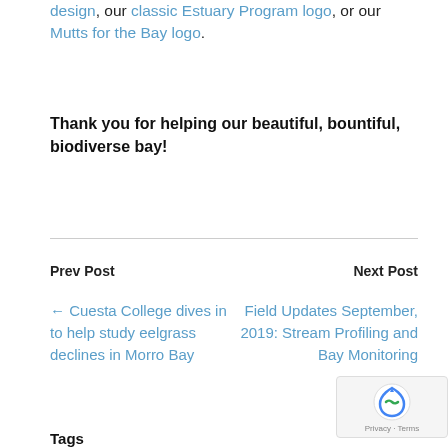design, our classic Estuary Program logo, or our Mutts for the Bay logo.
Thank you for helping our beautiful, bountiful, biodiverse bay!
Prev Post
Next Post
← Cuesta College dives in to help study eelgrass declines in Morro Bay
Field Updates September, 2019: Stream Profiling and Bay Monitoring
Tags